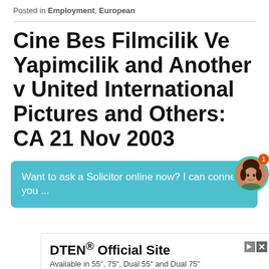Posted in Employment, European
Cine Bes Filmcilik Ve Yapimcilik and Another v United International Pictures and Others: CA 21 Nov 2003
Want to ask a Solicitor online now? I can connect you ...
channels within Turkey. A clause provided a
[Figure (other): Advertisement for DTEN Official Site. Text: DTEN® Official Site. Available in 55", 75", Dual 55" and Dual 75". Brand: DTEN. CTA button: Learn More]